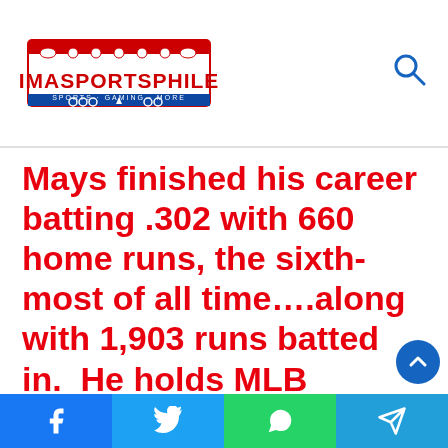IMASPORTSPHILE
Mays finished his career batting .302 with 660 home runs, the sixth-most of all time....along with 1,903 runs batted in.  He holds MLB records for most putouts (7,095)....and the most extra-inning home runs (22).  Over his career, he was selected for 24 All-
Facebook | Twitter | WhatsApp | Telegram